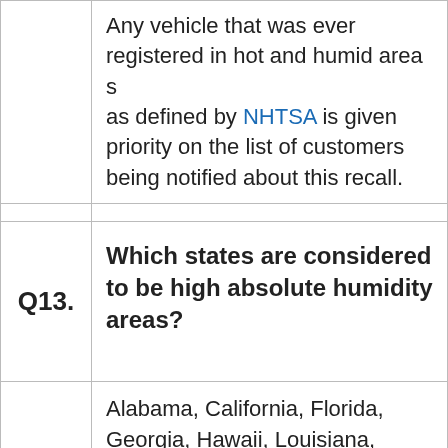Any vehicle that was ever registered in hot and humid areas as defined by NHTSA is given priority on the list of customers being notified about this recall.
Q13. Which states are considered to be high absolute humidity areas?
Alabama, California, Florida, Georgia, Hawaii, Louisiana, Mississippi, South Carolina, Texas, Puerto Rico, American Samoa, Guam, Saipan, and U.S. Virgin